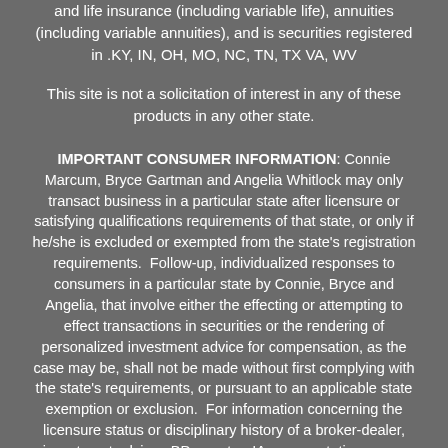and life insurance (including variable life), annuities (including variable annuities), and is securities registered in .KY, IN, OH, MO, NC, TN, TX VA, WV
This site is not a solicitation of interest in any of these products in any other state.
IMPORTANT CONSUMER INFORMATION: Connie Marcum, Bryce Gartman and Angelia Whitlock may only transact business in a particular state after licensure or satisfying qualifications requirements of that state, or only if he/she is excluded or exempted from the state's registration requirements. Follow-up, individualized responses to consumers in a particular state by Connie, Bryce and Angelia, that involve either the effecting or attempting to effect transactions in securities or the rendering of personalized investment advice for compensation, as the case may be, shall not be made without first complying with the state's requirements, or pursuant to an applicable state exemption or exclusion. For information concerning the licensure status or disciplinary history of a broker-dealer, investment adviser, BD agent or IA representative or any financial institution they